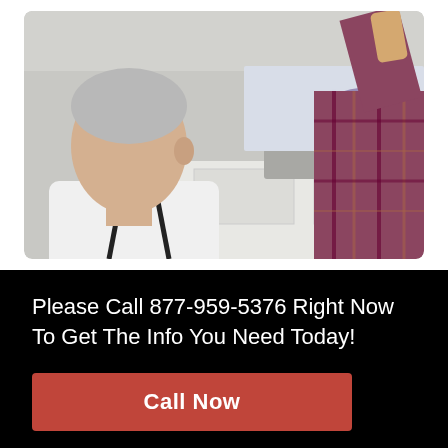[Figure (photo): Two people in a kitchen setting — an older man with white hair wearing a white shirt with suspenders and a younger person in a plaid flannel shirt, standing near a kitchen sink with faucet.]
Please Call 877-959-5376 Right Now To Get The Info You Need Today!
Call Now